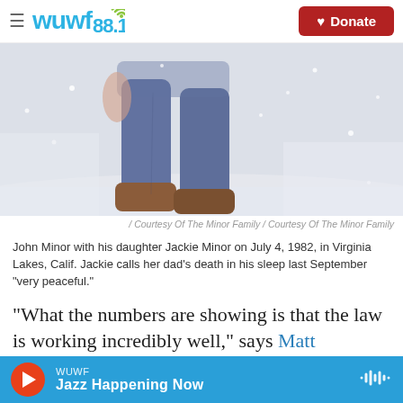wuwf 88.1 | Donate
[Figure (photo): Photo of a person standing in snow, showing legs and boots, with snowflakes falling. Person wearing jeans and brown boots on a snowy background.]
/ Courtesy Of The Minor Family / Courtesy Of The Minor Family
John Minor with his daughter Jackie Minor on July 4, 1982, in Virginia Lakes, Calif. Jackie calls her dad's death in his sleep last September "very peaceful."
"What the numbers are showing is that the law is working incredibly well," says Matt Whitaker, who directs Compassion and Choice's work in California and Oregon, which also has an aid-in-dying law. "It's
WUWF | Jazz Happening Now